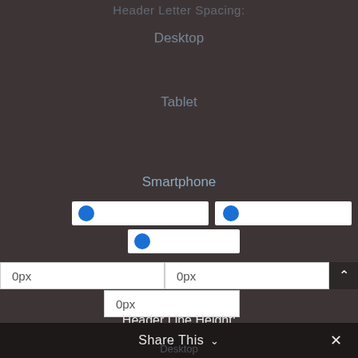Header Letter Spacing:
Desktop
Tablet
Smartphone
[Figure (screenshot): Two horizontal slider controls with blue circle handles on white tracks, representing spacing controls for Smartphone]
[Figure (screenshot): One horizontal slider control with blue circle handle on a white track]
[Figure (screenshot): Two input fields showing '0px' side by side with a scroll-up button on the right]
[Figure (screenshot): One input field showing '0px']
Header Line Height:
Share This ∨